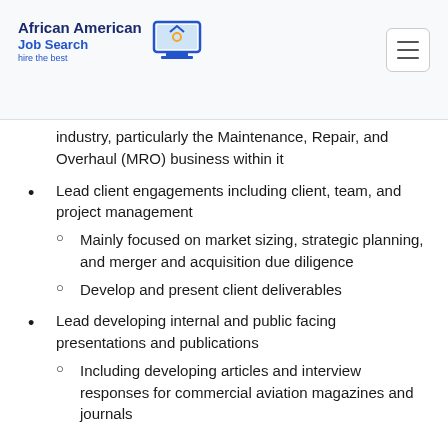African American Job Search — hire the best
industry, particularly the Maintenance, Repair, and Overhaul (MRO) business within it
Lead client engagements including client, team, and project management
Mainly focused on market sizing, strategic planning, and merger and acquisition due diligence
Develop and present client deliverables
Lead developing internal and public facing presentations and publications
Including developing articles and interview responses for commercial aviation magazines and journals